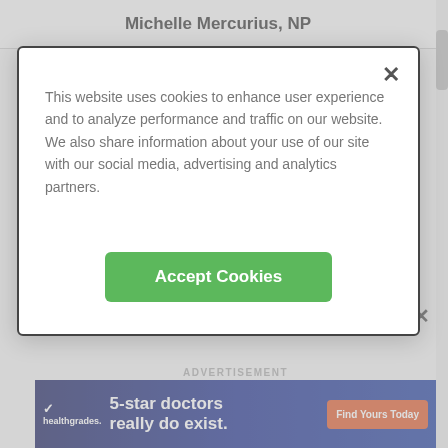Michelle Mercurius, NP
This website uses cookies to enhance user experience and to analyze performance and traffic on our website. We also share information about your use of our site with our social media, advertising and analytics partners.
Accept Cookies
Dr. Kristen D. Manter, MD
5 reviews
Learn More
ADVERTISEMENT
[Figure (screenshot): Healthgrades advertisement banner showing '5-star doctors really do exist. Find Yours Today']